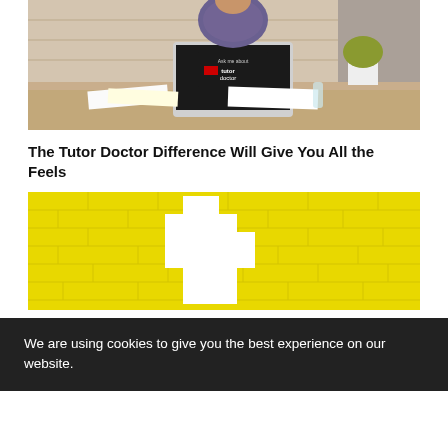[Figure (photo): Person sitting at a kitchen counter with a laptop that has a Tutor Doctor sticker on it, with papers and a plant visible on the counter]
The Tutor Doctor Difference Will Give You All the Feels
[Figure (photo): Yellow brick wall pattern with a white pixelated heart-like shape cut out in the center]
We are using cookies to give you the best experience on our website.